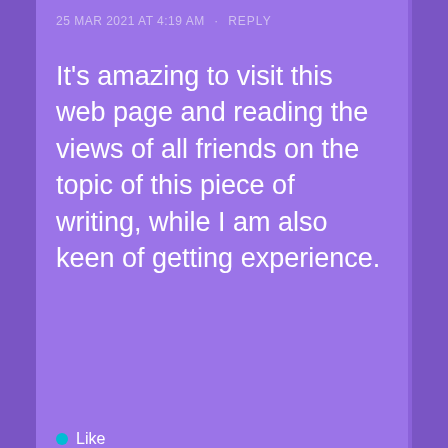25 MAR 2021 AT 4:19 AM · REPLY
It's amazing to visit this web page and reading the views of all friends on the topic of this piece of writing, while I am also keen of getting experience.
Like
[Figure (screenshot): DuckDuckGo advertisement banner with text: Search, browse, and email with more privacy. All in One Free App. Shows a phone illustration and DuckDuckGo logo.]